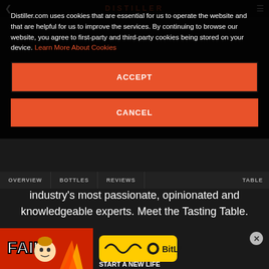Distiller.com uses cookies that are essential for us to operate the website and that are helpful for us to improve the services. By continuing to browse our website, you agree to first-party and third-party cookies being stored on your device. Learn More About Cookies
ACCEPT
CANCEL
Our bottles are reviewed by a panel of some of the industry's most passionate, opinionated and knowledgeable experts. Meet the Tasting Table.
[Figure (photo): Circular black and white portrait photo of a woman with curly dark hair, smiling slightly]
[Figure (photo): Advertisement banner at the bottom: Fail - Start a New Life - BitLife game ad with colorful flame graphic and cartoon character]